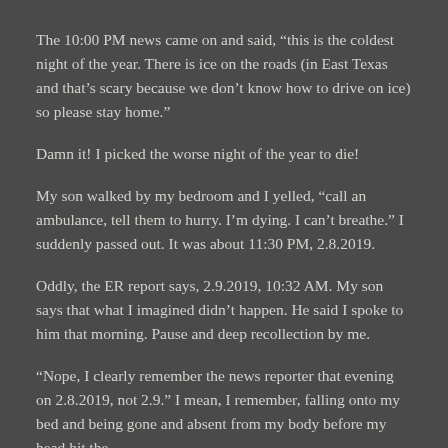The 10:00 PM news came on and said, “this is the coldest night of the year. There is ice on the roads (in East Texas and that’s scary because we don’t know how to drive on ice) so please stay home.”
Damn it! I picked the worse night of the year to die!
My son walked by my bedroom and I yelled, “call an ambulance, tell them to hurry. I’m dying. I can’t breathe.” I suddenly passed out. It was about 11:30 PM, 2.8.2019.
Oddly, the ER report says, 2.9.2019, 10:32 AM. My son says that what I imagined didn’t happen. He said I spoke to him that morning. Pause and deep recollection by me.
“Nope, I clearly remember the news reporter that evening on 2.8.2019, not 2.9.” I mean, I remember, falling onto my bed and being gone and absent from my body before my head hit the